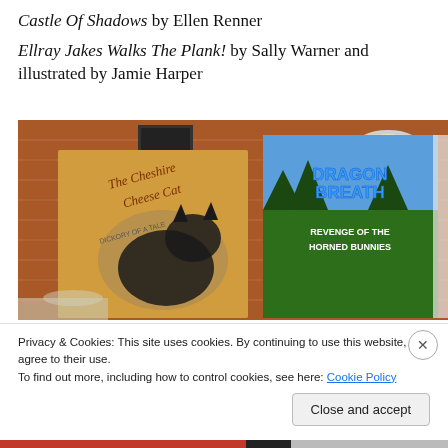Castle Of Shadows by Ellen Renner
Ellray Jakes Walks The Plank! by Sally Warner and illustrated by Jamie Harper
[Figure (photo): Photo of two large children's book covers displayed in what appears to be a library or bookshop. Left book: 'The Cheshire Cheese Cat' with an illustration of a black cat. Right book: 'Dragonbreath: Revenge of the Horned Bunnies' with colorful illustrated cover. Brick wall and industrial-style ceiling lamp visible in background.]
Privacy & Cookies: This site uses cookies. By continuing to use this website, you agree to their use.
To find out more, including how to control cookies, see here: Cookie Policy